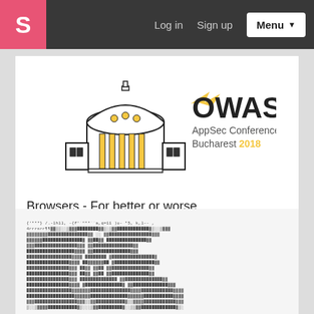S  Log in  Sign up  Menu
[Figure (logo): OWASP AppSec Conference Bucharest 2018 logo with illustrated building]
Browsers - For better or worse ...
Renato Rodrigues  3598 views
[Figure (screenshot): Dense text/ASCII art image, partially visible]